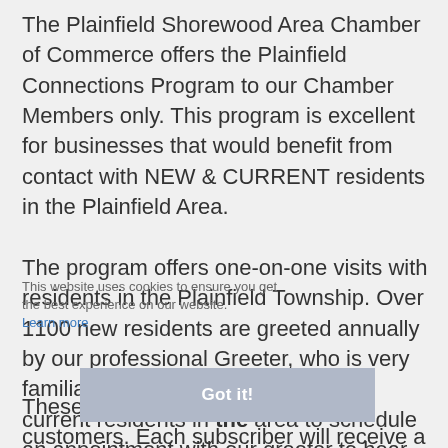The Plainfield Shorewood Area Chamber of Commerce offers the Plainfield Connections Program to our Chamber Members only. This program is excellent for businesses that would benefit from contact with NEW & CURRENT residents in the Plainfield Area.

The program offers one-on-one visits with residents in the Plainfield Township. Over 1100 new residents are greeted annually by our professional Greeter, who is very familiar with the area. We now offer current residents in the area to schedule an appointment with our greeter to hear the great benefits of YOUR Business.
This website uses cookies to ensure you get the best experience on our website.
Learn more
Got it!
These residents may be your next customers. Each subscriber will receive a bi-monthly